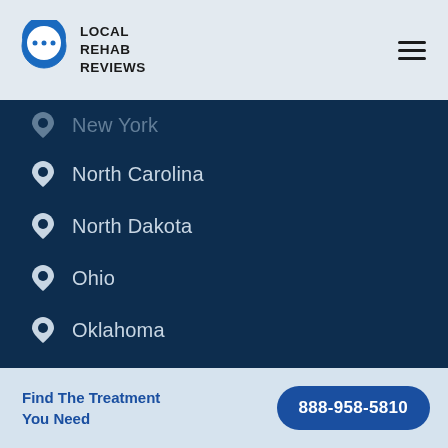LOCAL REHAB REVIEWS
New York
North Carolina
North Dakota
Ohio
Oklahoma
Oregon
Pennsylvania
Find The Treatment You Need  888-958-5810